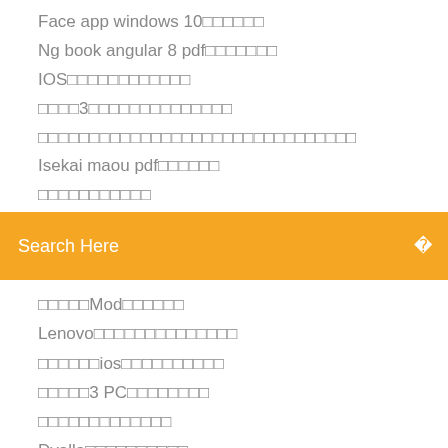Face app windows 10□□□□□□
Ng book angular 8 pdf□□□□□□□
IOS□□□□□□□□□□□□
□□□□3□□□□□□□□□□□□□□
□□□□□□□□□□□□□□□□□□□□□□□□□□□□□
Isekai maou pdf□□□□□□
□□□□□□□□□□□
[Figure (screenshot): Orange search bar with text 'Search Here' and a small icon on the right]
□□□□□Mod□□□□□□
Lenovo□□□□□□□□□□□□□□□
□□□□□□ios□□□□□□□□□□□
□□□□□3 PC□□□□□□□□
□□□□□□□□□□□□□
Dyalla□□□□□□□□□□□
□□□□□□□□□□□□□
□□□□□□pt□□□□□ps4
□□□□□photoshop cs6 untuk windows 10